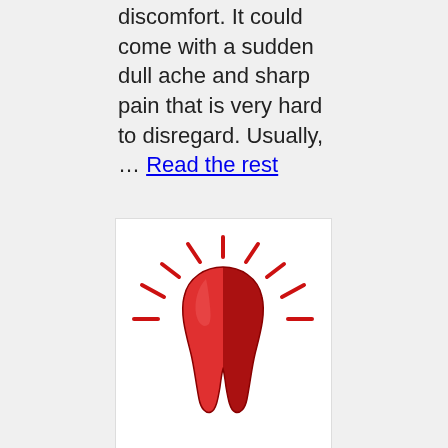discomfort. It could come with a sudden dull ache and sharp pain that is very hard to disregard. Usually, … Read the rest
[Figure (illustration): A red glowing tooth icon with radiant lines around it indicating pain or urgency, labeled 'Emergency Dentist' in bold red text below.]
Emergency Dentist
Emergency tooth extraction might be necessary beyond our control. However, when could this be? What are the cases wherein you will need to undergo an emergency tooth extraction? Fortunately, this article can give you answers. Additionally, if you check the …